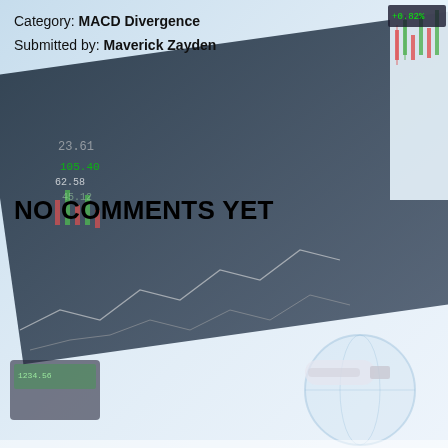[Figure (illustration): Financial trading chart background image showing candlestick charts, stock data displays, and trading interface elements with a globe and calculator visible]
Category: MACD Divergence
Submitted by: Maverick Zayden
NO COMMENTS YET
Comment Text*
We use cookies on our website to give you the most relevant experience by remembering your preferences and repeat visits. By clicking "Accept All", you consent to the use of ALL the cookies. However, you may visit "Cookie Settings" to provide a controlled consent.
Cookie Settings
Accept All